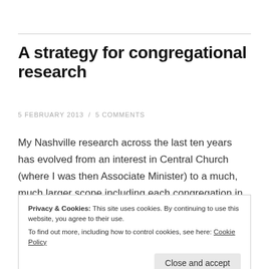A strategy for congregational research
5 FEBRUARY 2013 / 5 COMMENTS
My Nashville research across the last ten years has evolved from an interest in Central Church (where I was then Associate Minister) to a much, much larger scope including each congregation in the county, every para-
Privacy & Cookies: This site uses cookies. By continuing to use this website, you agree to their use.
To find out more, including how to control cookies, see here: Cookie Policy
comes the innumerable evangelists, ministers and